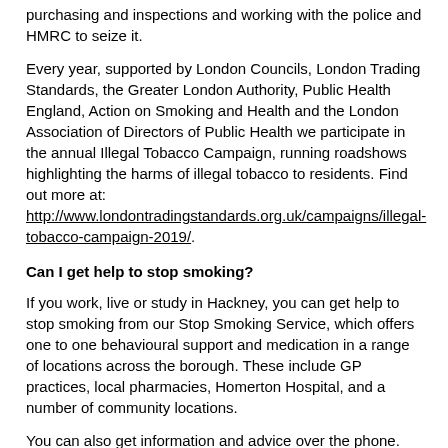purchasing and inspections and working with the police and HMRC to seize it.
Every year, supported by London Councils, London Trading Standards, the Greater London Authority, Public Health England, Action on Smoking and Health and the London Association of Directors of Public Health we participate in the annual Illegal Tobacco Campaign, running roadshows highlighting the harms of illegal tobacco to residents. Find out more at: http://www.londontradingstandards.org.uk/campaigns/illegal-tobacco-campaign-2019/.
Can I get help to stop smoking?
If you work, live or study in Hackney, you can get help to stop smoking from our Stop Smoking Service, which offers one to one behavioural support and medication in a range of locations across the borough. These include GP practices, local pharmacies, Homerton Hospital, and a number of community locations.
You can also get information and advice over the phone. For more information go to www.smokefreehackney.org or call 0800 0469946 or email smokefreehackney@nhs.net.